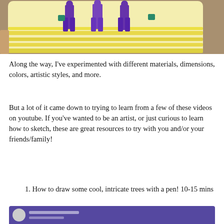[Figure (photo): A hand holding a small card with a child-like drawing of people in purple clothes on a yellow background]
Along the way, I've experimented with different materials, dimensions, colors, artistic styles, and more.
But a lot of it came down to trying to learn from a few of these videos on youtube. If you've wanted to be an artist, or just curious to learn how to sketch, these are great resources to try with you and/or your friends/family!
1. How to draw some cool, intricate trees with a pen! 10-15 mins
[Figure (screenshot): Partial thumbnail of a YouTube video at the bottom of the page]